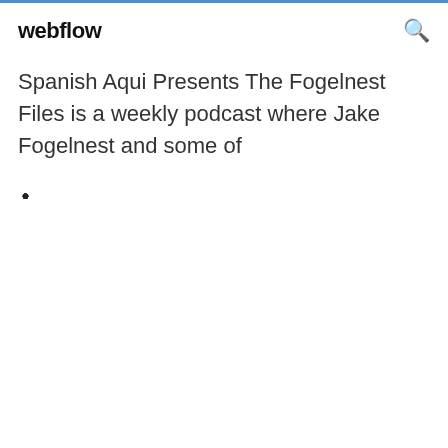webflow
Spanish Aqui Presents The Fogelnest Files is a weekly podcast where Jake Fogelnest and some of